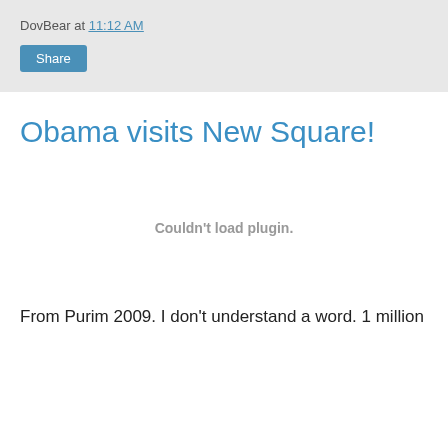DovBear at 11:12 AM
Obama visits New Square!
[Figure (other): Embedded plugin area that could not be loaded, showing the message 'Couldn't load plugin.']
From Purim 2009. I don't understand a word. 1 million